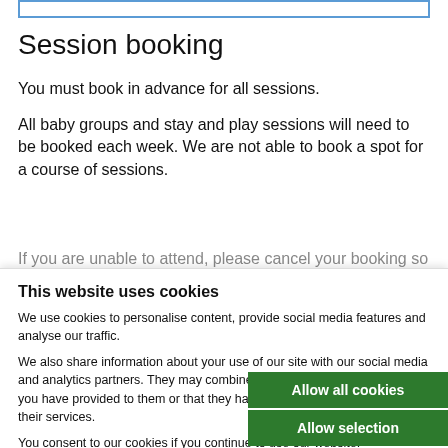Session booking
You must book in advance for all sessions.
All baby groups and stay and play sessions will need to be booked each week. We are not able to book a spot for a course of sessions.
If you are unable to attend, please cancel your booking so...
This website uses cookies
We use cookies to personalise content, provide social media features and analyse our traffic.
We also share information about your use of our site with our social media and analytics partners. They may combine it with other information that you have provided to them or that they have collected when you used their services.
You consent to our cookies if you continue to use our website.